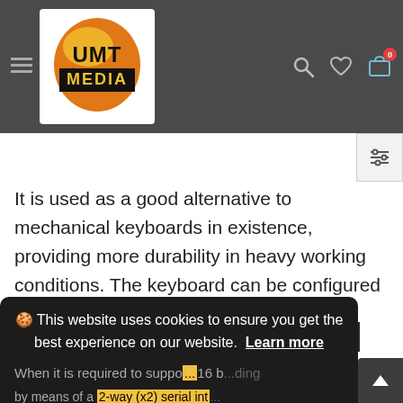UMT MEDIA - website header with logo, hamburger menu, search, heart, and bag icons
It is used as a good alternative to mechanical keyboards in existence, providing more durability in heavy working conditions. The keyboard can be configured as 8 buttons or 16.
Outputs 1-8 are mapped directly to the keyboard...
🍪 This website uses cookies to ensure you get the best experience on our website. Learn more
When it is required to support up to 16 b... ...ding by means of a 2-way (x2) serial int...
Got it!
Chat with us